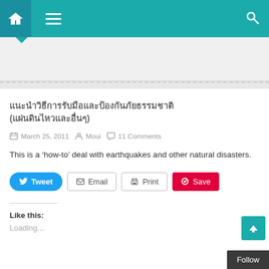Navigation bar with home, menu, and search icons
[Thai script title text]
March 25, 2011  Moui  11 Comments
This is a 'how-to' deal with earthquakes and other natural disasters.
Tweet  Email  Print  Save
Like this:
Loading...